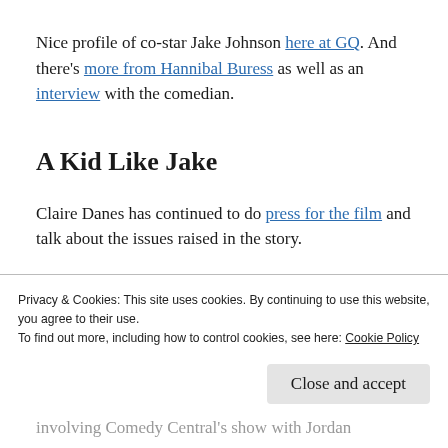Nice profile of co-star Jake Johnson here at GQ. And there's more from Hannibal Buress as well as an interview with the comedian.
A Kid Like Jake
Claire Danes has continued to do press for the film and talk about the issues raised in the story.
Privacy & Cookies: This site uses cookies. By continuing to use this website, you agree to their use.
To find out more, including how to control cookies, see here: Cookie Policy
involving Comedy Central's show with Jordan